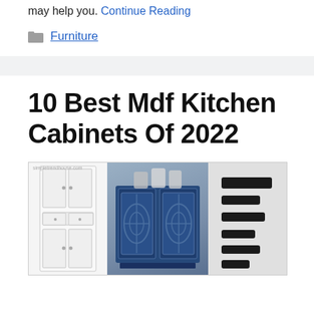may help you. Continue Reading
Furniture
10 Best Mdf Kitchen Cabinets Of 2022
[Figure (photo): Collage of three kitchen cabinet images: a white tall storage cabinet on the left, a blue decorative cabinet with ornate glass doors in the center, and black cabinet handles/pulls on the right.]